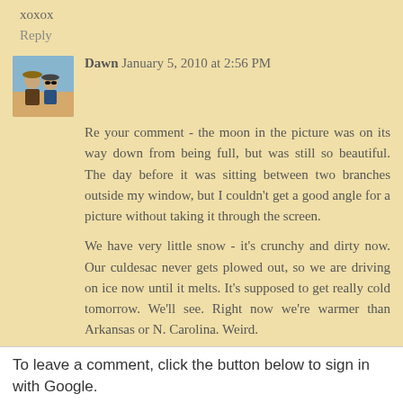xoxox
Reply
Dawn  January 5, 2010 at 2:56 PM
Re your comment - the moon in the picture was on its way down from being full, but was still so beautiful. The day before it was sitting between two branches outside my window, but I couldn't get a good angle for a picture without taking it through the screen.
We have very little snow - it's crunchy and dirty now. Our culdesac never gets plowed out, so we are driving on ice now until it melts. It's supposed to get really cold tomorrow. We'll see. Right now we're warmer than Arkansas or N. Carolina. Weird.
Have a great week!
Reply
To leave a comment, click the button below to sign in with Google.